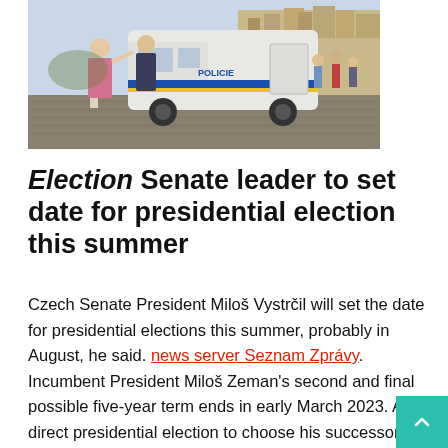[Figure (photo): A woman interacting with a police officer near a police van (marked POLICIE) on a cobblestone square in Prague, with historic buildings visible in the background.]
Election Senate leader to set date for presidential election this summer
Czech Senate President Miloš Vystrčil will set the date for presidential elections this summer, probably in August, he said. news server Seznam Zprávy. Incumbent President Miloš Zeman's second and final possible five-year term ends in early March 2023. A direct presidential election to choose his successor is expected to take place